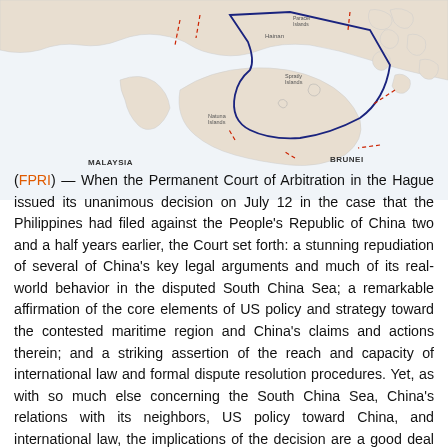[Figure (map): Partial map of Southeast Asia showing the South China Sea region, including labels for Malaysia, Brunei, and nearby islands. Red dashed lines and a blue polygon border (nine-dash line area) are drawn over the sea.]
(FPRI) — When the Permanent Court of Arbitration in the Hague issued its unanimous decision on July 12 in the case that the Philippines had filed against the People's Republic of China two and a half years earlier, the Court set forth: a stunning repudiation of several of China's key legal arguments and much of its real-world behavior in the disputed South China Sea; a remarkable affirmation of the core elements of US policy and strategy toward the contested maritime region and China's claims and actions therein; and a striking assertion of the reach and capacity of international law and formal dispute resolution procedures. Yet, as with so much else concerning the South China Sea, China's relations with its neighbors, US policy toward China, and international law, the implications of the decision are a good deal more ambiguous and ambivalent. In the aftermath of the decision, China is faced with difficult choices, the US with complex dilemmas, and international law with substantial peril.
A Sweeping Decision